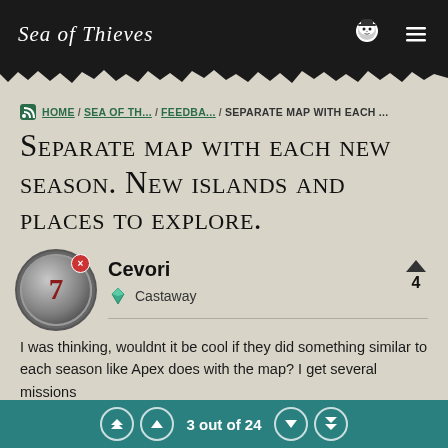Sea of Thieves
HOME / SEA OF TH... / FEEDBA... / SEPARATE MAP WITH EACH...
Separate map with each new season. New islands and places to explore.
Cevori
Castaway
Vote: 4
I was thinking, wouldnt it be cool if they did something similar to each season like Apex does with the map? I get several missions
3 out of 24